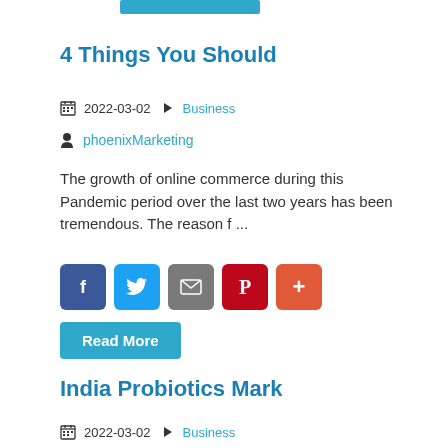[Figure (other): Teal/blue button or bar at top]
4 Things You Should
2022-03-02  Business
phoenixMarketing
The growth of online commerce during this Pandemic period over the last two years has been tremendous. The reason f ...
[Figure (other): Social share buttons: Facebook, Twitter, Email, Pinterest, Plus]
Read More
India Probiotics Mark
2022-03-02  Business